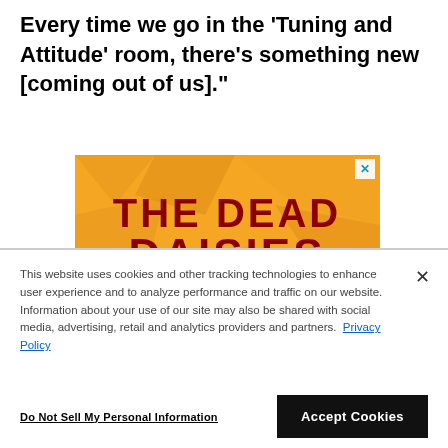Every time we go in the 'Tuning and Attitude' room, there's something new [coming out of us]."
[Figure (advertisement): The Dead Daisies band advertisement banner with orange background, red stylized text 'THE DEAD DAISIES' and white winged globe logo]
This website uses cookies and other tracking technologies to enhance user experience and to analyze performance and traffic on our website. Information about your use of our site may also be shared with social media, advertising, retail and analytics providers and partners. Privacy Policy
Do Not Sell My Personal Information | Accept Cookies